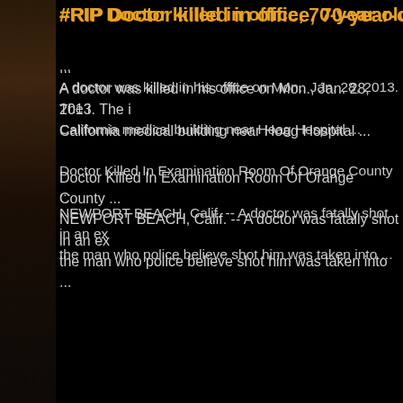#RIP Doctor killed in office, 70-year-old suspect arreste...
...
A doctor was killed in his office on Mon., Jan. 28, 2013. The i... California medical building near Hoag Hospital ...
Doctor Killed In Examination Room Of Orange County ...
NEWPORT BEACH, Calif. -- A doctor was fatally shot in an ex... the man who police believe shot him was taken into ...
[Figure (screenshot): Orange download buttons labeled Flickr, Google, with loading spinner graphics on dark background]
[Figure (screenshot): Orange download button labeled Youtube with loading spinner on dark background]